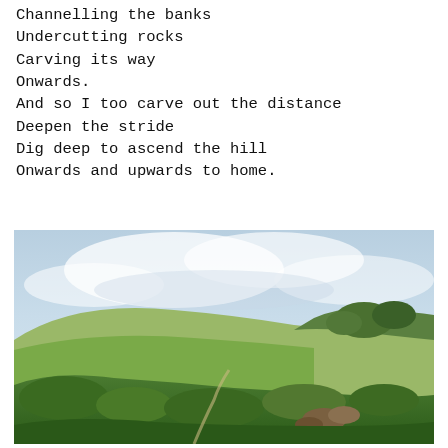Channelling the banks
Undercutting rocks
Carving its way
Onwards.
And so I too carve out the distance
Deepen the stride
Dig deep to ascend the hill
Onwards and upwards to home.
[Figure (photo): A landscape photograph showing rolling green hills with low shrubs and vegetation in the foreground, a hillside rising in the background, and a pale cloudy sky above.]